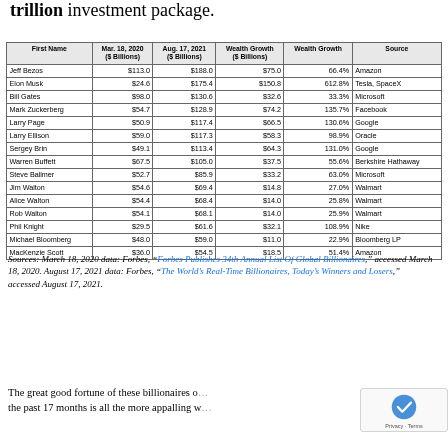trillion investment package.
| First Name | Mar. 18, 2020 ($ Billions) | Aug. 17, 2021 ($ Billions) | Wealth Growth ($ Billions) | Wealth Growth | Source |
| --- | --- | --- | --- | --- | --- |
| Jeff Bezos | $113.0 | $188.0 | $75.0 | 66.4% | Amazon |
| Elon Musk | $24.6 | $175.4 | $150.8 | 612.8% | Tesla, SpaceX |
| Bill Gates | $98.0 | $130.6 | $32.6 | 33.3% | Microsoft |
| Mark Zuckerberg | $54.7 | $128.9 | $74.2 | 135.7% | Facebook |
| Larry Page | $50.9 | $117.4 | $66.5 | 130.6% | Google |
| Larry Ellison | $59.0 | $117.3 | $58.3 | 98.9% | Oracle |
| Sergey Brin | $49.1 | $113.4 | $64.3 | 131.0% | Google |
| Warren Buffett | $67.5 | $105.0 | $37.5 | 55.6% | Berkshire Hathaway |
| Steve Ballmer | $52.7 | $85.9 | $33.2 | 63.0% | Microsoft |
| Jim Walton | $54.6 | $69.4 | $14.8 | 27.0% | Walmart |
| Alice Walton | $54.4 | $68.4 | $14.0 | 25.8% | Walmart |
| Rob Walton | $54.1 | $68.1 | $14.0 | 25.9% | Walmart |
| Phil Knight | $29.5 | $61.6 | $32.1 | 108.9% | Nike |
| Michael Bloomberg | $48.0 | $59.0 | $11.0 | 22.9% | Bloomberg LP |
| MacKenzie Scott | $36.0 | $54.5 | $18.5 | 51.4% | Amazon |
Sources: March 18, 2020 data: Forbes, "Forbes Publishes 34th Annual List Of Global Billionaires," accessed March 18, 2020. August 17, 2021 data: Forbes, "The World's Real-Time Billionaires, Today's Winners and Losers," accessed August 17, 2021.
The great good fortune of these billionaires over the past 17 months is all the more appalling w... contrasted with the devastation in most of